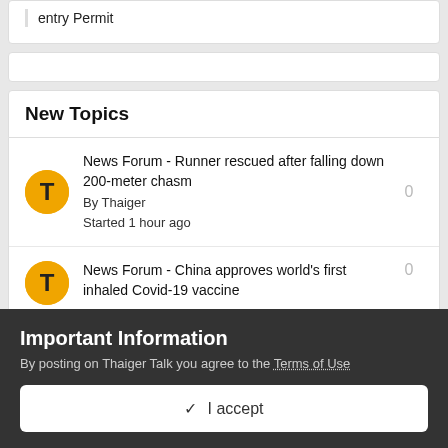entry Permit
New Topics
News Forum - Runner rescued after falling down 200-meter chasm
By Thaiger
Started 1 hour ago
News Forum - China approves world's first inhaled Covid-19 vaccine
Important Information
By posting on Thaiger Talk you agree to the Terms of Use
✓ I accept